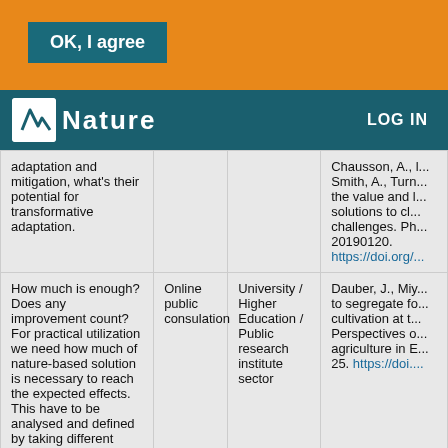[Figure (screenshot): Orange banner with 'OK, I agree' button in teal/dark cyan color]
Nature — LOG IN navigation bar
| Question/Comment | Method | Sector | Reference |
| --- | --- | --- | --- |
| adaptation and mitigation, what's their potential for transformative adaptation. |  |  | Chausson, A., ... Smith, A., Turn... the value and l... solutions to cl... challenges. Ph... 20190120. https://doi.org/... |
| How much is enough? Does any improvement count? For practical utilization we need how much of nature-based solution is necessary to reach the expected effects. This have to be analysed and defined by taking different landscape configurations into... | Online public consulation | University / Higher Education / Public research institute sector | Dauber, J., Miy... to segregate fo... cultivation at t... Perspectives o... agriculture in E... 25. https://doi.... |